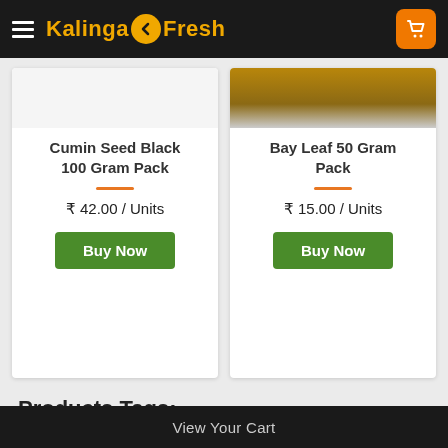KalingaFresh
[Figure (screenshot): Partial product image of Cumin Seed Black 100 Gram Pack]
Cumin Seed Black 100 Gram Pack
₹ 42.00 / Units
Buy Now
[Figure (photo): Partial product image of Bay Leaf 50 Gram Pack - brown package visible at top]
Bay Leaf 50 Gram Pack
₹ 15.00 / Units
Buy Now
Products Tags:
View Your Cart